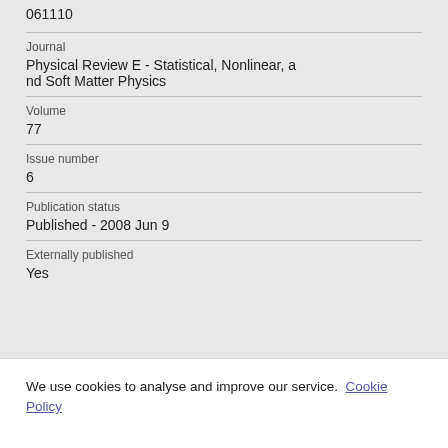061110
Journal
Physical Review E - Statistical, Nonlinear, and Soft Matter Physics
Volume
77
Issue number
6
Publication status
Published - 2008 Jun 9
Externally published
Yes
We use cookies to analyse and improve our service. Cookie Policy